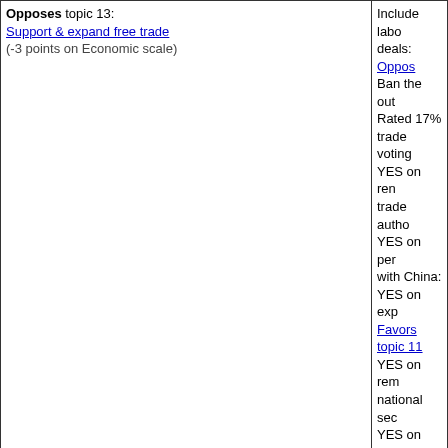| Topic/Position | Details |
| --- | --- |
| Opposes topic 13: Support & expand free trade
(-3 points on Economic scale) | Include labo... deals: Oppos... Ban the out... Rated 17%... trade voting... YES on ren... trade autho... YES on per... with China:... YES on exp... Favors topic 11... YES on rem... national sec... YES on gra... to Vietnam:... NO on exte... nations: Stro... NO on esta... Singapore:... NO on esta... US and Chi... NO on impl... America fre... NO on free... Strongly Oppo... |
| Opposes topic 15: Expand the armed forces
(+2 points on Social scale) | Star Wars p... century: Opp... Voted for 20... Favors topic 1... Rated 100%... voting recor... Sponsored l... |